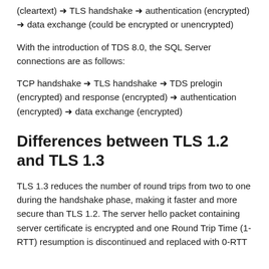(cleartext) → TLS handshake → authentication (encrypted) → data exchange (could be encrypted or unencrypted)
With the introduction of TDS 8.0, the SQL Server connections are as follows:
TCP handshake → TLS handshake → TDS prelogin (encrypted) and response (encrypted) → authentication (encrypted) → data exchange (encrypted)
Differences between TLS 1.2 and TLS 1.3
TLS 1.3 reduces the number of round trips from two to one during the handshake phase, making it faster and more secure than TLS 1.2. The server hello packet containing server certificate is encrypted and one Round Trip Time (1-RTT) resumption is discontinued and replaced with 0-RTT